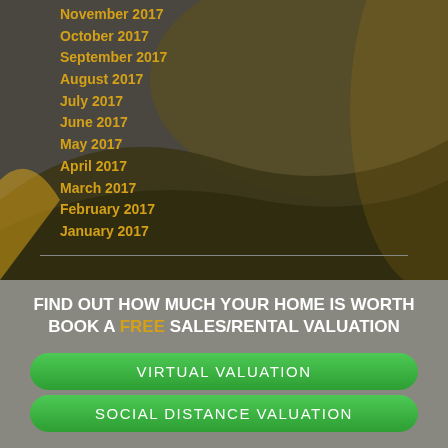November 2017
October 2017
September 2017
August 2017
July 2017
June 2017
May 2017
April 2017
March 2017
February 2017
January 2017
FIND OUT HOW MUCH YOUR HOME IS WORTH BOOK A FREE SALES/RENTAL VALUATION
VIRTUAL VALUATION
SOCIAL DISTANCE VALUATION